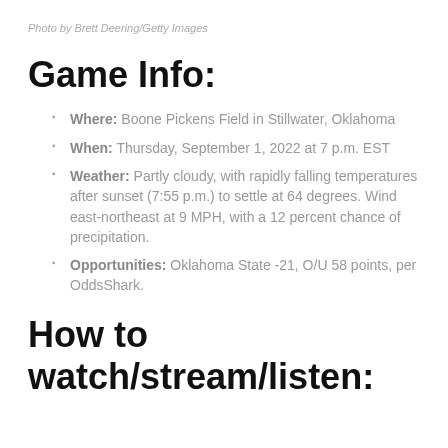Photo by Brett Deering/Getty Images
Game Info:
Where: Boone Pickens Field in Stillwater, Oklahoma
When: Thursday, September 1, 2022 at 7 p.m. EST
Weather: Partly cloudy, with rapidly falling temperatures after sunset (7:55 p.m.) to settle at 64 degrees. Wind east-northeast at 9 MPH, with a 12 percent chance of precipitation.
Opportunities: Oklahoma State -21, O/U 58 points, per OddsShark.
How to watch/stream/listen: